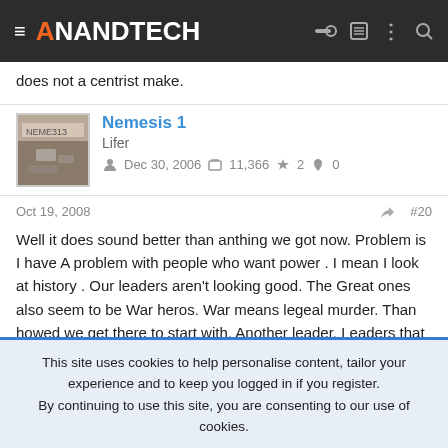AnandTech
does not a centrist make.
Nemesis 1
Lifer
Dec 30, 2006   11,366   2   0
Oct 19, 2008   #20
Well it does sound better than anthing we got now. Problem is I have A problem with people who want power . I mean I look at history . Our leaders aren't looking good. The Great ones also seem to be War heros. War means legeal murder. Than howed we get there to start with. Another leader. Leaders that want to lead can't be trusted in
This site uses cookies to help personalise content, tailor your experience and to keep you logged in if you register.
By continuing to use this site, you are consenting to our use of cookies.